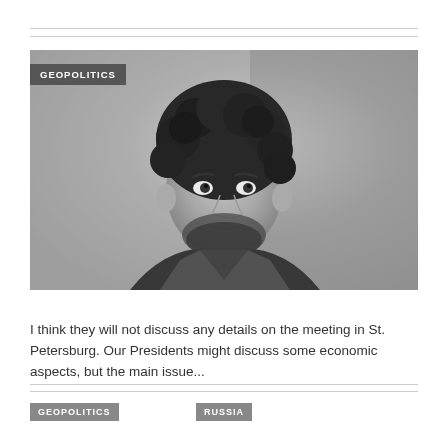[Figure (photo): Black and white portrait photo of a man with curly hair and a beard]
GEOPOLITICS
IT'S ON EURASIAN COUNTRIES TO HELP TURKEY LEAVE NATO
I think they will not discuss any details on the meeting in St. Petersburg. Our Presidents might discuss some economic aspects, but the main issue...
GEOPOLITICS
RUSSIA